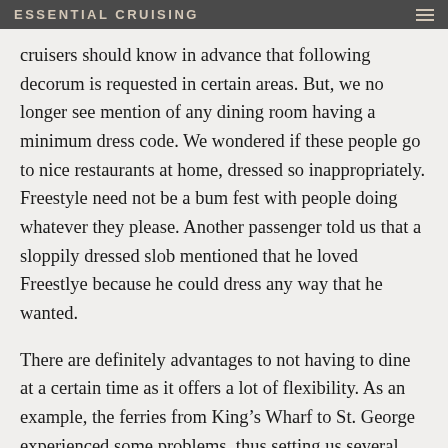ESSENTIAL CRUISING
cruisers should know in advance that following decorum is requested in certain areas. But, we no longer see mention of any dining room having a minimum dress code. We wondered if these people go to nice restaurants at home, dressed so inappropriately. Freestyle need not be a bum fest with people doing whatever they please. Another passenger told us that a sloppily dressed slob mentioned that he loved Freestlye because he could dress any way that he wanted.
There are definitely advantages to not having to dine at a certain time as it offers a lot of flexibility. As an example, the ferries from King’s Wharf to St. George experienced some problems, thus setting us several hours behind our intended schedule. Thanks to Freestyle, we had no worries about making it back for a specific dining time. We simply did what we wanted to and returned when it was convenient for us. We even wore what we had worn the entire day – resort casual clothes, the norm that NCL wrongly assumes that